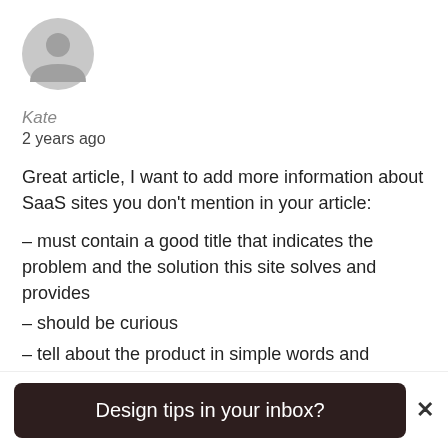[Figure (illustration): Generic user avatar icon — grey circle with person silhouette]
Kate
2 years ago
Great article, I want to add more information about SaaS sites you don't mention in your article:
– must contain a good title that indicates the problem and the solution this site solves and provides
– should be curious
– tell about the product in simple words and understandable language and show how unique this product is
Design tips in your inbox?